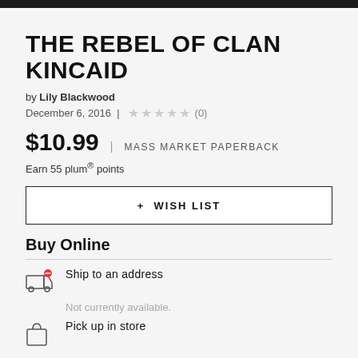[Figure (other): Black top navigation bar]
THE REBEL OF CLAN KINCAID
by Lily Blackwood
December 6, 2016 | ★★★★★ (0)
$10.99 | MASS MARKET PAPERBACK
Earn 55 plum® points
+ WISH LIST
Buy Online
Ship to an address
Not currently available.
Pick up in store